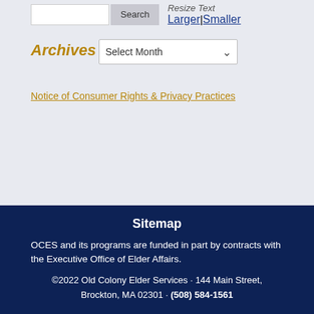Resize Text Larger|Smaller
Archives
Select Month
Notice of Consumer Rights & Privacy Practices
Sitemap
OCES and its programs are funded in part by contracts with the Executive Office of Elder Affairs.
©2022 Old Colony Elder Services · 144 Main Street, Brockton, MA 02301 · (508) 584-1561